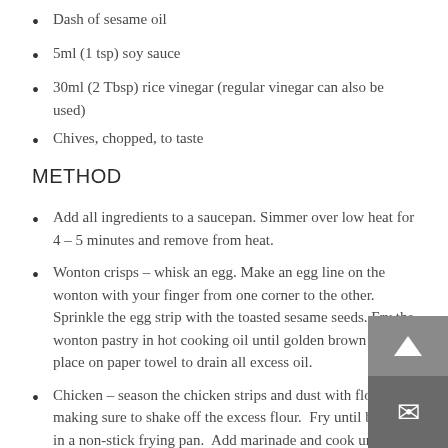Dash of sesame oil
5ml (1 tsp) soy sauce
30ml (2 Tbsp) rice vinegar (regular vinegar can also be used)
Chives, chopped, to taste
METHOD
Add all ingredients to a saucepan. Simmer over low heat for 4 – 5 minutes and remove from heat.
Wonton crisps – whisk an egg. Make an egg line on the wonton with your finger from one corner to the other. Sprinkle the egg strip with the toasted sesame seeds. Fry the wonton pastry in hot cooking oil until golden brown and place on paper towel to drain all excess oil.
Chicken – season the chicken strips and dust with flour, making sure to shake off the excess flour. Fry until brown in a non-stick frying pan. Add marinade and cook until chicken is well coated and the sauce has a sticky consistency. Remove from heat.